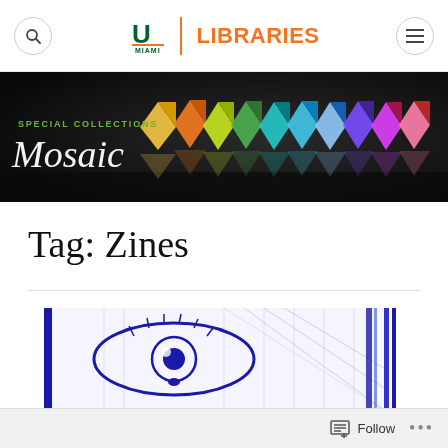UM Libraries — navigation bar with search and menu icons
[Figure (screenshot): University of Miami Libraries website header with orange UM logo, 'LIBRARIES' in orange, search icon button on left, hamburger menu icon on right]
[Figure (photo): Special Collections Mosaic banner with colorful origami paper cranes/stars on dark background, green 'SPECIAL COLLECTIONS' label and white italic 'Mosaic' text overlay]
Tag: Zines
[Figure (illustration): Blue ink illustration showing a close-up of an eye with detailed crosshatching, appearing to be a zine cover or artwork]
Follow   ...